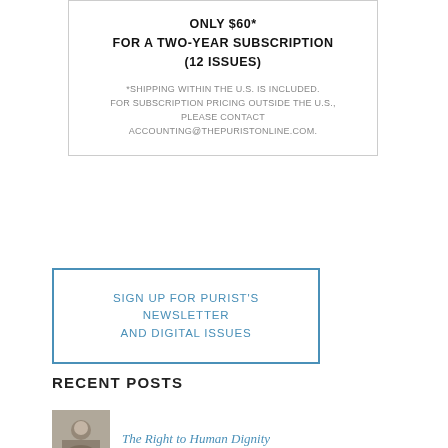ONLY $60*
FOR A TWO-YEAR SUBSCRIPTION
(12 ISSUES)

*SHIPPING WITHIN THE U.S. IS INCLUDED. FOR SUBSCRIPTION PRICING OUTSIDE THE U.S., PLEASE CONTACT ACCOUNTING@THEPURISTONLINE.COM.
SIGN UP FOR PURIST'S NEWSLETTER AND DIGITAL ISSUES
RECENT POSTS
The Right to Human Dignity